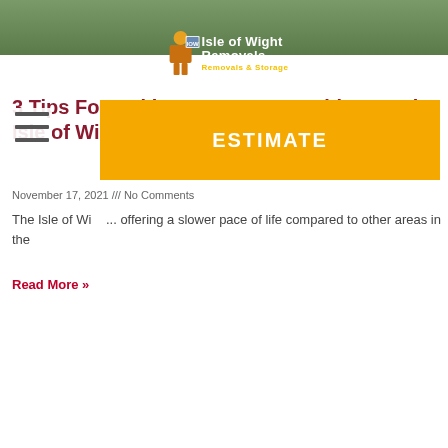[Figure (photo): Hero image of a road/path with grass, partially obscured by logo overlay]
[Figure (logo): Isle of Wight Removals logo - man carrying boxes with text 'Isle of Wight Removals' and 'Removals & Storage']
[Figure (other): Hamburger menu icon (three horizontal lines)]
[Figure (other): Orange ESTIMATE button overlay]
3 Tips For Making An Easy Transition To The Isle of Wight
November 17, 2021 /// No Comments
The Isle of Wi... offering a slower pace of life compared to other areas in the
Read More »